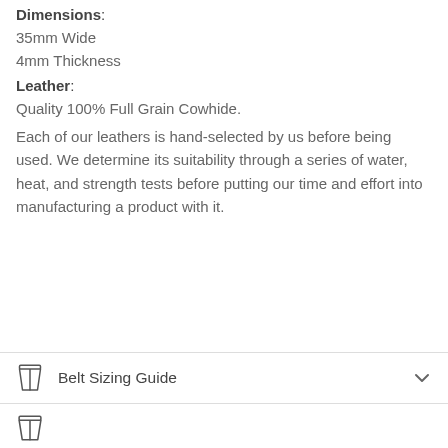Dimensions:
35mm Wide
4mm Thickness
Leather:
Quality 100% Full Grain Cowhide.
Each of our leathers is hand-selected by us before being used. We determine its suitability through a series of water, heat, and strength tests before putting our time and effort into manufacturing a product with it.
Belt Sizing Guide
[Figure (illustration): Belt/trousers icon and chevron down arrow for accordion collapse/expand]